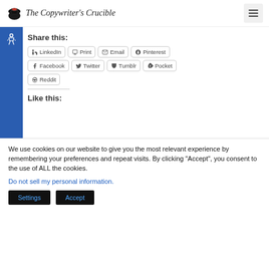The Copywriter's Crucible
Share this:
LinkedIn
Print
Email
Pinterest
Facebook
Twitter
Tumblr
Pocket
Reddit
Like this:
We use cookies on our website to give you the most relevant experience by remembering your preferences and repeat visits. By clicking “Accept”, you consent to the use of ALL the cookies.
Do not sell my personal information.
Settings   Accept